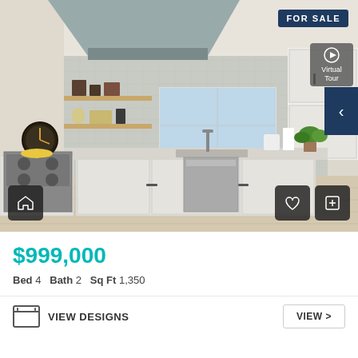[Figure (photo): Kitchen interior with stainless steel appliances, white cabinets, open shelving, range hood, hardwood floors, and a window above the sink. FOR SALE badge in top right corner with Virtual Tour button. Navigation arrow on right side. Home icon bottom left, heart and plus icons bottom right.]
$999,000
Bed 4   Bath 2   Sq Ft 1,350
VIEW DESIGNS
VIEW >